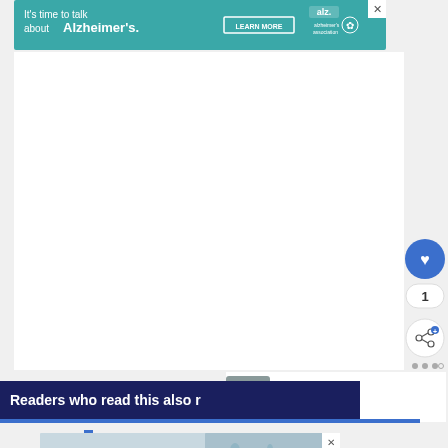[Figure (screenshot): Teal advertisement banner for Alzheimer's Association reading "It's time to talk about Alzheimer's." with a LEARN MORE button and Alzheimer's Association logo on the right, and an X close button.]
[Figure (screenshot): White content area (article body, mostly blank/scrolled past content)]
[Figure (infographic): Social interaction buttons on right side: blue heart/like button, count '1', share button with branching icon, and three dots menu.]
[Figure (screenshot): "WHAT'S NEXT" panel with a thumbnail image (faucet/hands washing) and preview text 'How Long is a High School...']
Readers who read this also r
[Figure (screenshot): Bottom advertisement banner with '#FlattenTheCurve' text, image of hands being washed at a faucet, and a close X button.]